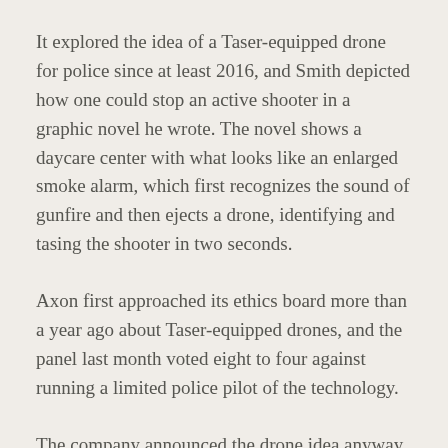It explored the idea of a Taser-equipped drone for police since at least 2016, and Smith depicted how one could stop an active shooter in a graphic novel he wrote. The novel shows a daycare center with what looks like an enlarged smoke alarm, which first recognizes the sound of gunfire and then ejects a drone, identifying and tasing the shooter in two seconds.
Axon first approached its ethics board more than a year ago about Taser-equipped drones, and the panel last month voted eight to four against running a limited police pilot of the technology.
The company announced the drone idea anyway, as it said it wanted to get past “fruitless debates” on guns after the Uvalde shooting, sending shares up nearly 6%.